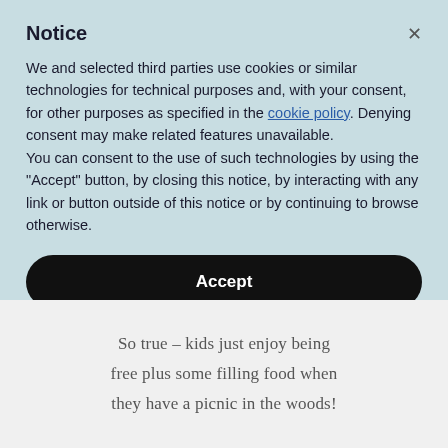Notice
We and selected third parties use cookies or similar technologies for technical purposes and, with your consent, for other purposes as specified in the cookie policy. Denying consent may make related features unavailable.
You can consent to the use of such technologies by using the “Accept” button, by closing this notice, by interacting with any link or button outside of this notice or by continuing to browse otherwise.
Accept
Learn more and customize
So true – kids just enjoy being free plus some filling food when they have a picnic in the woods!